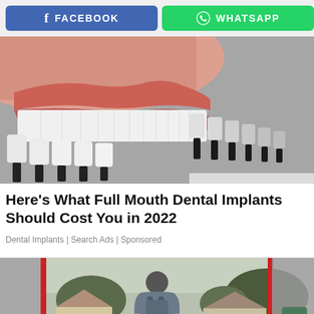[Figure (other): Facebook share button (blue) and WhatsApp share button (green) side by side at top of page]
[Figure (photo): Close-up photo of a person's smile showing white teeth alongside dental veneer/implant shade guide samples in white and dark grey on a grey background]
Here's What Full Mouth Dental Implants Should Cost You in 2022
Dental Implants | Search Ads | Sponsored
[Figure (photo): Photo of a man viewed from behind standing in front of suburban houses, with red vertical bars on either side of the central image and blurred grey panels on the far left and right]